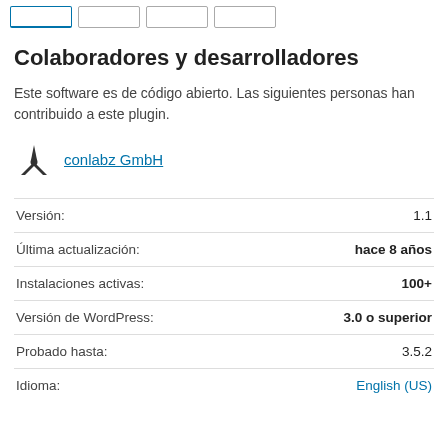[Figure (other): Navigation tab strip with four tab rectangles at the top of the page]
Colaboradores y desarrolladores
Este software es de código abierto. Las siguientes personas han contribuido a este plugin.
[Figure (logo): conlabz GmbH contributor logo (three-pronged arrow icon) with link text 'conlabz GmbH']
|  |  |
| --- | --- |
| Versión: | 1.1 |
| Última actualización: | hace 8 años |
| Instalaciones activas: | 100+ |
| Versión de WordPress: | 3.0 o superior |
| Probado hasta: | 3.5.2 |
| Idioma: | English (US) |